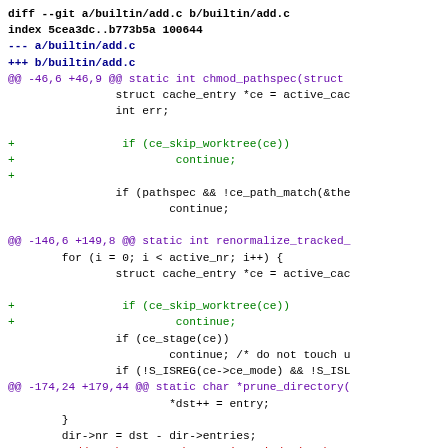[Figure (screenshot): A git diff output showing changes to builtin/add.c, including additions of ce_skip_worktree(ce) checks and modifications to add_pathspec_matches_against_index calls.]